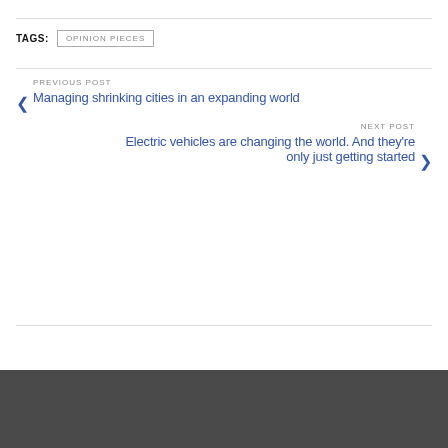TAGS: OPINION PIECES
PREVIOUS POST
Managing shrinking cities in an expanding world
NEXT POST
Electric vehicles are changing the world. And they're only just getting started
© 2022 Third World Centre for Water Management by Esteban Espejo - WordPress Theme by Kadence WP